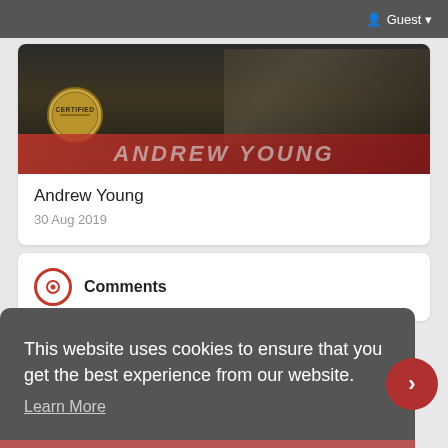Guest
[Figure (photo): Book or album cover for Andrew Young with a person wearing a chain necklace and a CERTIFIED badge overlay, dark themed image with red/dark text at bottom showing ANDREW YOUNG]
Andrew Young
30 Aug 2019
Comments
This website uses cookies to ensure that you get the best experience from our website. Learn More
Dismiss